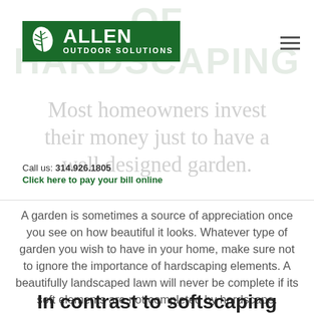[Figure (logo): Allen Outdoor Solutions logo: green box with white leaf icon and white bold text 'ALLEN' above 'OUTDOOR SOLUTIONS']
OF HARDSCAPING
Most homeowners invest their money just to have a well designed garden.
Call us: 314.926.1805
Click here to pay your bill online
A garden is sometimes a source of appreciation once you see on how beautiful it looks. Whatever type of garden you wish to have in your home, make sure not to ignore the importance of hardscaping elements. A beautifully landscaped lawn will never be complete if its soft elements are not completed by hardscape.
In contrast to softscaping